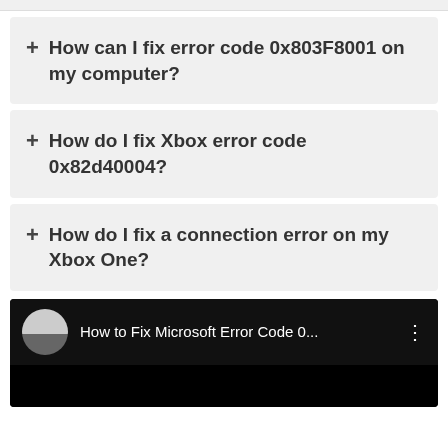+ How can I fix error code 0x803F8001 on my computer?
+ How do I fix Xbox error code 0x82d40004?
+ How do I fix a connection error on my Xbox One?
[Figure (screenshot): Video thumbnail showing 'How to Fix Microsoft Error Code 0...' with channel avatar icon and menu dots on dark background]